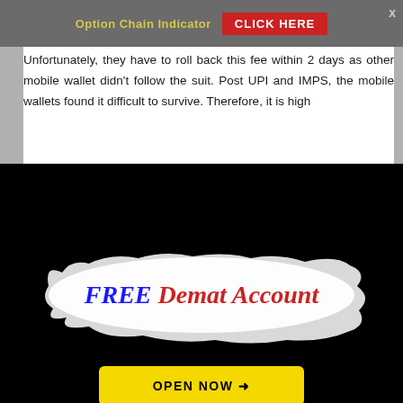Option Chain Indicator   CLICK HERE
Unfortunately, they have to roll back this fee within 2 days as other mobile wallet didn't follow the suit. Post UPI and IMPS, the mobile wallets found it difficult to survive. Therefore, it is high...
[Figure (infographic): Black background advertisement popup with white brushstroke paint splash area containing text 'FREE Demat Account' in bold italic blue and red fonts, and a yellow 'OPEN NOW →' button below.]
Member Login
My Account
Lost Password